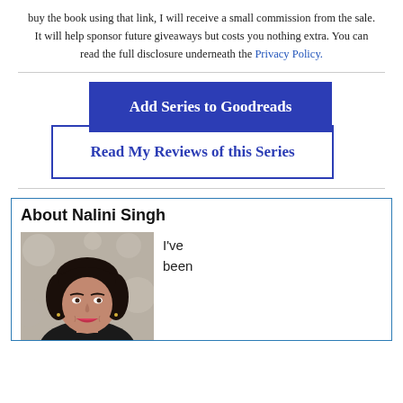buy the book using that link, I will receive a small commission from the sale. It will help sponsor future giveaways but costs you nothing extra. You can read the full disclosure underneath the Privacy Policy.
[Figure (other): Blue filled button labeled 'Add Series to Goodreads' overlapping a white outlined button labeled 'Read My Reviews of this Series']
About Nalini Singh
[Figure (photo): Headshot of Nalini Singh, a woman with dark hair and a bright smile, wearing a dark top, against a blurred light background.]
I've been